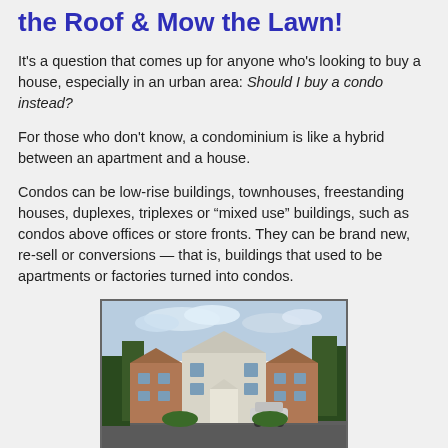the Roof & Mow the Lawn!
It's a question that comes up for anyone who’s looking to buy a house, especially in an urban area: Should I buy a condo instead?
For those who don't know, a condominium is like a hybrid between an apartment and a house.
Condos can be low-rise buildings, townhouses, freestanding houses, duplexes, triplexes or “mixed use” buildings, such as condos above offices or store fronts. They can be brand new, re-sell or conversions — that is, buildings that used to be apartments or factories turned into condos.
[Figure (photo): Photograph of a two-story residential condominium building with a white center section and brick side wings, surrounded by trees, with a wet parking area in front and a white car visible.]